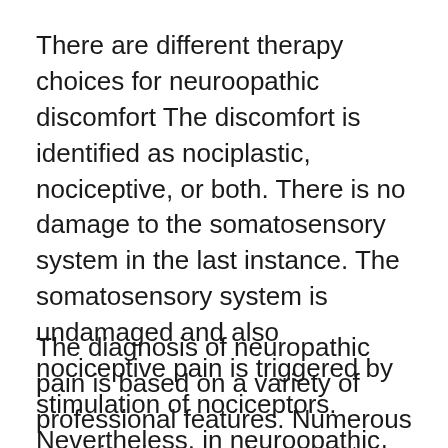There are different therapy choices for neuroopathic discomfort The discomfort is identified as nociplastic, nociceptive, or both. There is no damage to the somatosensory system in the last instance. The somatosensory system is undamaged and also nociceptive pain is triggered by stimulation of nociceptors. Nevertheless, in neuroopathic discomfort, nociceptive pain does not occur as a result of cells damage. The frequency of neuropathic pain is 6.9-10%.
The diagnosis of neuropathic pain is based on a variety of professional features. Numerous examinations can be executed, consisting of axon reflex, to detect